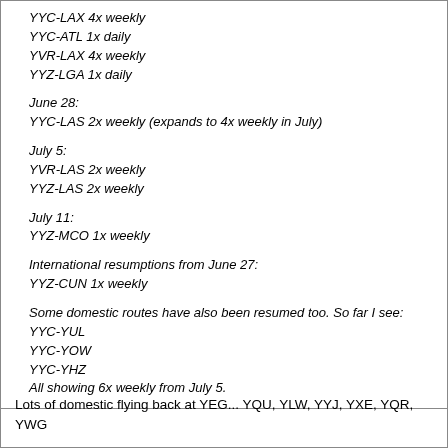YYC-LAX 4x weekly
YYC-ATL 1x daily
YVR-LAX 4x weekly
YYZ-LGA 1x daily
June 28:
YYC-LAS 2x weekly (expands to 4x weekly in July)
July 5:
YVR-LAS 2x weekly
YYZ-LAS 2x weekly
July 11:
YYZ-MCO 1x weekly
International resumptions from June 27:
YYZ-CUN 1x weekly
Some domestic routes have also been resumed too. So far I see:
YYC-YUL
YYC-YOW
YYC-YHZ
All showing 6x weekly from July 5.
Lots of domestic flying back at YEG... YQU, YLW, YYJ, YXE, YQR, YWG